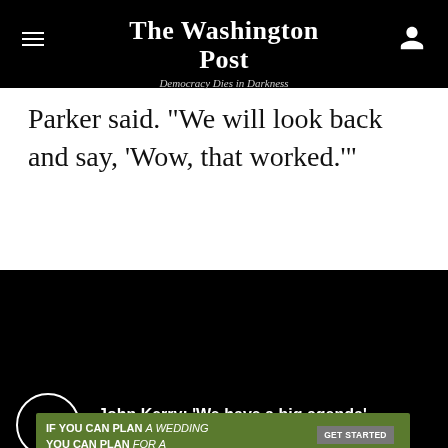The Washington Post — Democracy Dies in Darkness
Parker said. “We will look back and say, ‘Wow, that worked.’”
[Figure (other): Embedded video player (black screen) with play button overlay. Video title: John Kerry: ‘We have a big agenda’... Duration: 1:25]
[Figure (other): Advertisement banner: IF YOU CAN PLAN A WEDDING YOU CAN PLAN FOR A NATURAL DISASTER — GET STARTED — Ready.gov / FEMA ad]